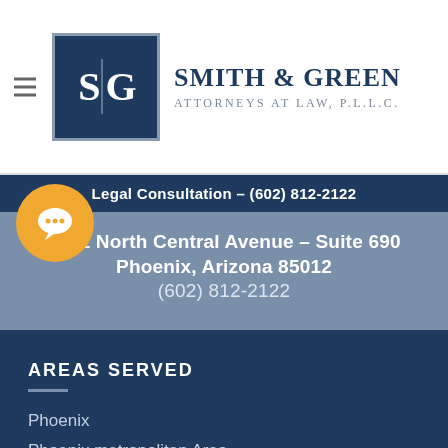Smith & Green Attorneys at Law, P.L.L.C.
Legal Consultation – (602) 812-2122
3101 North Central Avenue – Suite 690
Phoenix, Arizona 85012
(602) 812-2122
AREAS SERVED
Phoenix
Phoenix metropolitan Area
Maricopa County
Arizona